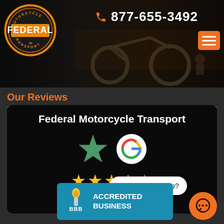[Figure (screenshot): Header banner with motorcycle image, Federal Motorcycle Transport logo, phone number 877-655-3492 with orange phone icon, and orange hamburger menu button]
Our Reviews
[Figure (infographic): Federal Motorcycle Transport Google review card on black background showing green star, Google G logo, 5 yellow stars, and rating text: 4.91 stars based on 275 reviews]
[Figure (logo): BBB Accredited Business badge in teal/blue]
How can we help?